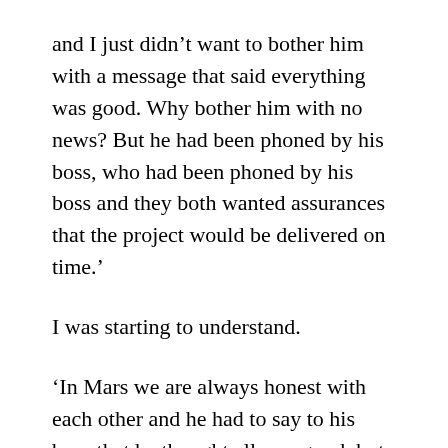and I just didn’t want to bother him with a message that said everything was good. Why bother him with no news? But he had been phoned by his boss, who had been phoned by his boss and they both wanted assurances that the project would be delivered on time.’
I was starting to understand.
‘In Mars we are always honest with each other and he had to say to his boss that he thought all was good, but he didn’t really know,’ Richard said. ‘That is why I didn’t get my full bonus because as far as my boss was concerned the project was a failure. Technically it was good but on communication it failed.’